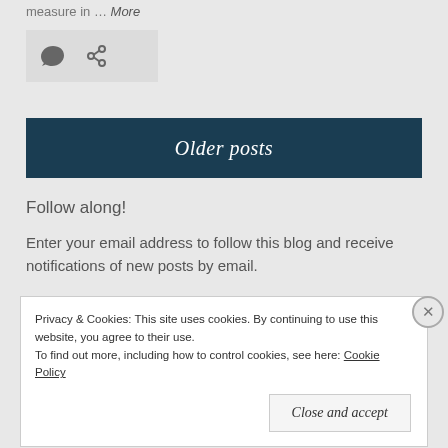measure in … More
[Figure (other): Icon bar with comment bubble and link icons]
Older posts
Follow along!
Enter your email address to follow this blog and receive notifications of new posts by email.
Privacy & Cookies: This site uses cookies. By continuing to use this website, you agree to their use. To find out more, including how to control cookies, see here: Cookie Policy
Close and accept